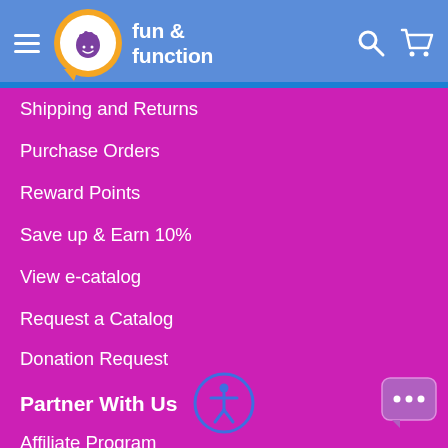fun & function
Shipping and Returns
Purchase Orders
Reward Points
Save up & Earn 10%
View e-catalog
Request a Catalog
Donation Request
Partner With Us
Affiliate Program
Resellers
[Figure (illustration): Accessibility icon - person with arms outstretched in circle]
[Figure (illustration): Chat/message bubble icon with ellipsis]